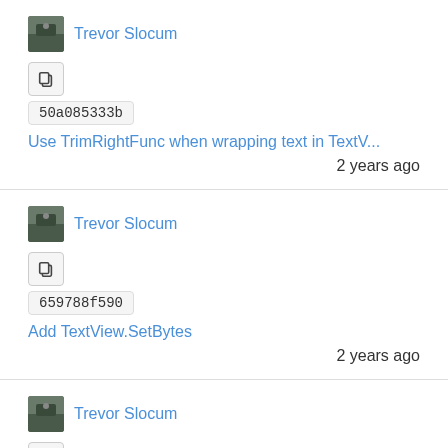Trevor Slocum
50a085333b
Use TrimRightFunc when wrapping text in TextV...
2 years ago
Trevor Slocum
659788f590
Add TextView.SetBytes
2 years ago
Trevor Slocum
da799d93c0